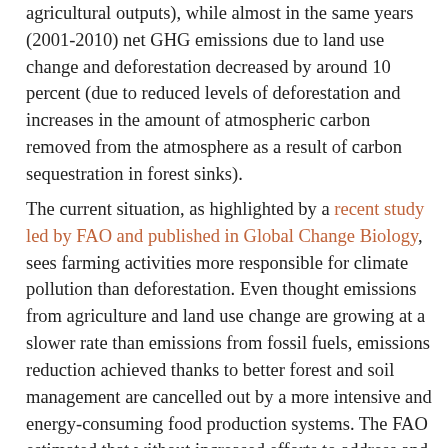agricultural outputs), while almost in the same years (2001-2010) net GHG emissions due to land use change and deforestation decreased by around 10 percent (due to reduced levels of deforestation and increases in the amount of atmospheric carbon removed from the atmosphere as a result of carbon sequestration in forest sinks).
The current situation, as highlighted by a recent study led by FAO and published in Global Change Biology, sees farming activities more responsible for climate pollution than deforestation. Even thought emissions from agriculture and land use change are growing at a slower rate than emissions from fossil fuels, emissions reduction achieved thanks to better forest and soil management are cancelled out by a more intensive and energy-consuming food production systems. The FAO estimated that without increased efforts to address and reduce them, GHG emissions from the sector could increase by an additional 30 percent by 2050.